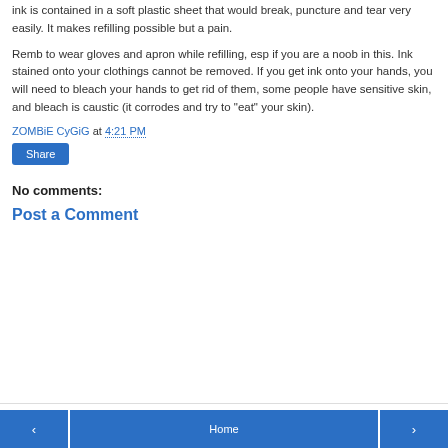ink is contained in a soft plastic sheet that would break, puncture and tear very easily. It makes refilling possible but a pain.
Remb to wear gloves and apron while refilling, esp if you are a noob in this. Ink stained onto your clothings cannot be removed. If you get ink onto your hands, you will need to bleach your hands to get rid of them, some people have sensitive skin, and bleach is caustic (it corrodes and try to "eat" your skin).
ZOMBiE CyGiG at 4:21 PM
Share
No comments:
Post a Comment
‹  Home  ›